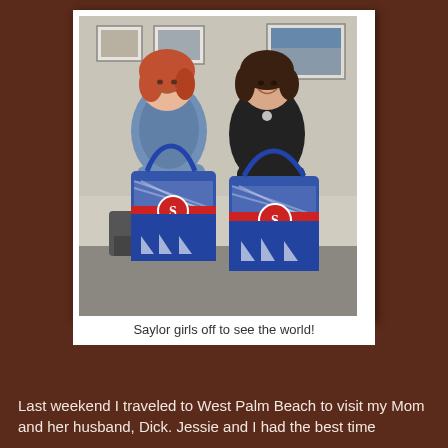[Figure (photo): Two women smiling and holding matching blue and white nautical-themed tote bags with red monogram 'S' patches, standing in an office setting.]
Saylor girls off to see the world!
Last weekend I traveled to West Palm Beach to visit my Mom and her husband, Dick. Jessie and I had the best time